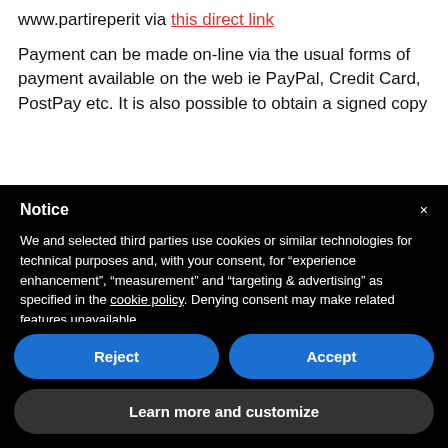www.partireperit via this direct link
Payment can be made on-line via the usual forms of payment available on the web ie PayPal, Credit Card, PostPay etc. It is also possible to obtain a signed copy
Notice
We and selected third parties use cookies or similar technologies for technical purposes and, with your consent, for “experience enhancement”, “measurement” and “targeting & advertising” as specified in the cookie policy. Denying consent may make related features unavailable.
You can freely give, deny, or withdraw your consent at any time.
You can consent to the use of such technologies by using the “Accept” button. By closing this notice, you continue without accepting.
Reject
Accept
Learn more and customize